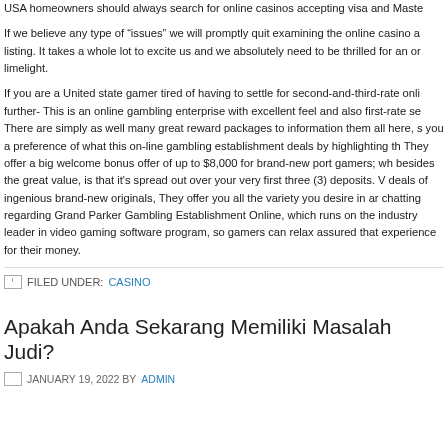USA homeowners should always search for online casinos accepting visa and Maste
If we believe any type of “issues” we will promptly quit examining the online casino a listing. It takes a whole lot to excite us and we absolutely need to be thrilled for an or limelight.
If you are a United state gamer tired of having to settle for second-and-third-rate onli further- This is an online gambling enterprise with excellent feel and also first-rate se There are simply as well many great reward packages to information them all here, s you a preference of what this on-line gambling establishment deals by highlighting th They offer a big welcome bonus offer of up to $8,000 for brand-new port gamers; wh besides the great value, is that it's spread out over your very first three (3) deposits. deals of ingenious brand-new originals, They offer you all the variety you desire in ar chatting regarding Grand Parker Gambling Establishment Online, which runs on the industry leader in video gaming software program, so gamers can relax assured that experience for their money.
FILED UNDER: CASINO
Apakah Anda Sekarang Memiliki Masalah Judi?
JANUARY 19, 2022 BY ADMIN